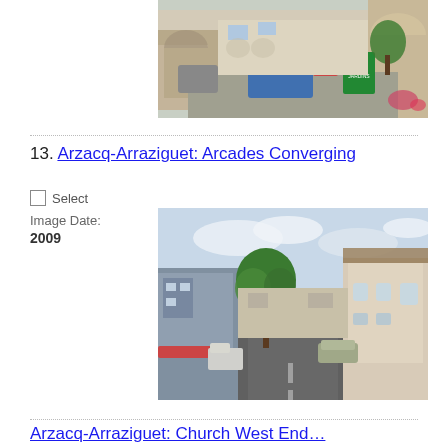[Figure (photo): Street scene with arcades, parked cars, and a green FLEURS ET JARDINS sign on the right, with stone archways visible.]
13. Arzacq-Arraziguet: Arcades Converging
Select
Image Date:
2009
[Figure (photo): Street scene in Arzacq-Arraziguet showing arcades converging, with a central tree, road leading to the distance, and traditional French buildings on both sides.]
Arzacq-Arraziguet: Church West End...